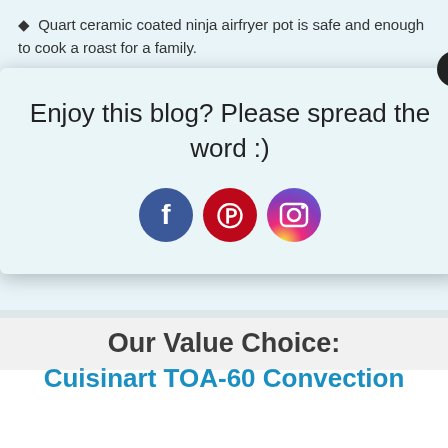Quart ceramic coated ninja airfryer pot is safe and enough to cook a roast for a family.
[Figure (other): Popup overlay with text 'Enjoy this blog? Please spread the word :)' and three social media icons: Facebook (blue circle with f), Pinterest (red circle with P), and Instagram (gradient circle with camera icon). A close button (X) is in the top right corner.]
Stainless steel reversible rack with easy to clean feature
Our Value Choice:
Cuisinart TOA-60 Convection